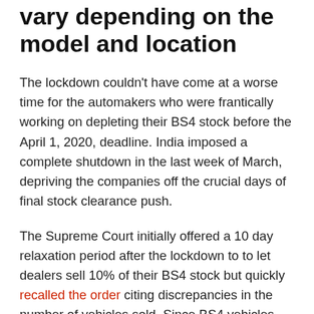vary depending on the model and location
The lockdown couldn't have come at a worse time for the automakers who were frantically working on depleting their BS4 stock before the April 1, 2020, deadline. India imposed a complete shutdown in the last week of March, depriving the companies off the crucial days of final stock clearance push.
The Supreme Court initially offered a 10 day relaxation period after the lockdown to to let dealers sell 10% of their BS4 stock but quickly recalled the order citing discrepancies in the number of vehicles sold. Since BS4 vehicles cannot be registered after the implementation of BS6 standards, several passenger car and two wheeler